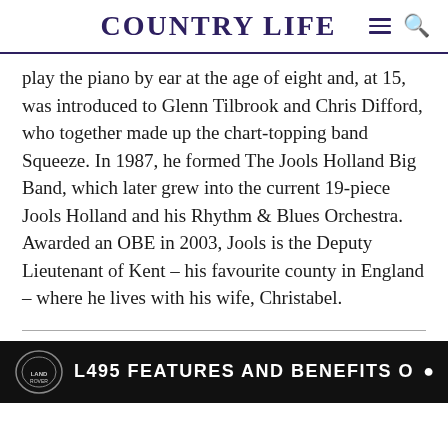COUNTRY LIFE
play the piano by ear at the age of eight and, at 15, was introduced to Glenn Tilbrook and Chris Difford, who together made up the chart-topping band Squeeze. In 1987, he formed The Jools Holland Big Band, which later grew into the current 19-piece Jools Holland and his Rhythm & Blues Orchestra. Awarded an OBE in 2003, Jools is the Deputy Lieutenant of Kent – his favourite county in England – where he lives with his wife, Christabel.
[Figure (screenshot): Advertisement banner with Land Rover logo and text 'L495 FEATURES AND BENEFITS O' on a dark background]